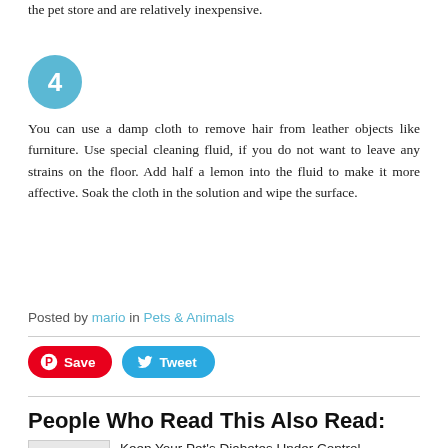the pet store and are relatively inexpensive.
[Figure (other): Blue circular badge with number 4]
You can use a damp cloth to remove hair from leather objects like furniture. Use special cleaning fluid, if you do not want to leave any strains on the floor. Add half a lemon into the fluid to make it more affective. Soak the cloth in the solution and wipe the surface.
Posted by mario in Pets & Animals
[Figure (other): Save (Pinterest) and Tweet (Twitter) buttons]
People Who Read This Also Read:
Keep Your Pet's Diabetes Under Control